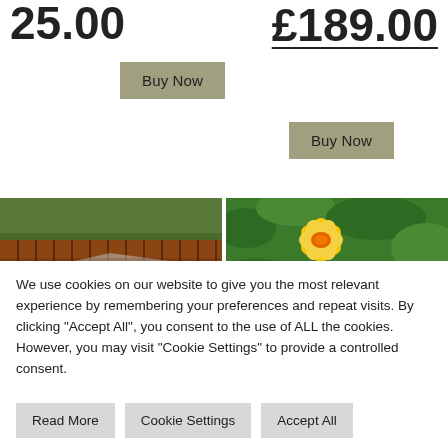25.00
£189.00
Buy Now
Buy Now
[Figure (photo): Wooden garden edging boards forming a curved border with a clear plastic sheet or lining visible inside]
[Figure (photo): Yellow and orange daffodil flower ornament or decoration against a green leafy garden background]
We use cookies on our website to give you the most relevant experience by remembering your preferences and repeat visits. By clicking "Accept All", you consent to the use of ALL the cookies. However, you may visit "Cookie Settings" to provide a controlled consent.
Read More
Cookie Settings
Accept All